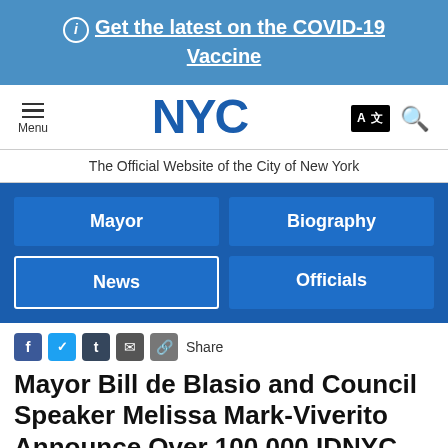ⓘ Get the latest on the COVID-19 Vaccine
[Figure (logo): NYC government website navigation bar with hamburger menu, NYC logo in blue, translate icon and search icon]
The Official Website of the City of New York
[Figure (infographic): Blue navigation menu with four buttons: Mayor, Biography, News (active/outlined), Officials]
Share
Mayor Bill de Blasio and Council Speaker Melissa Mark-Viverito Announce Over 100,000 IDNYC Applicants Enrolled
April 2, 2015